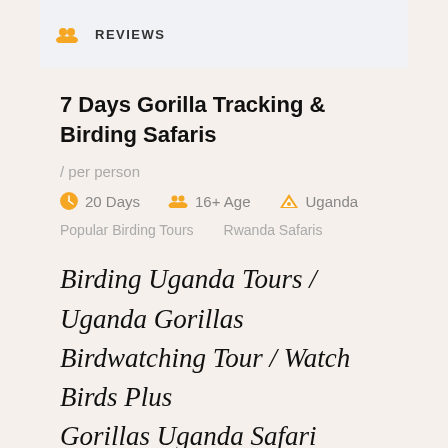REVIEWS
7 Days Gorilla Tracking & Birding Safaris
/ per person
20 Days   16+ Age   Uganda
Popular Birding Tours   Rwanda Safaris
Birding Uganda Tours / Uganda Gorillas Birdwatching Tour / Watch Birds Plus Gorillas Uganda Safari Adventure
[Figure (photo): Broken image placeholder labeled 'Birding Uganda Tours']
Gorillas and Birding